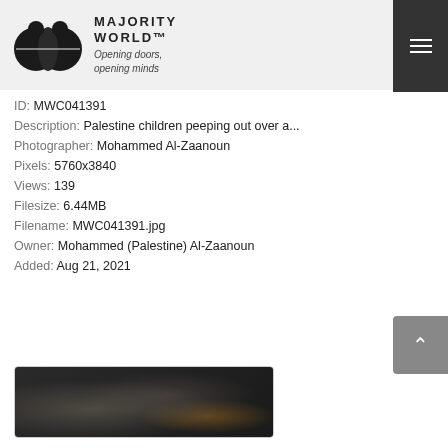[Figure (logo): Majority World logo with two overlapping circles and tagline 'Opening doors, opening minds']
ID: MWC041391
Description: Palestine children peeping out over a...
Photographer: Mohammed Al-Zaanoun
Pixels: 5760x3840
Views: 139
Filesize: 6.44MB
Filename: MWC041391.jpg
Owner: Mohammed (Palestine) Al-Zaanoun
Added: Aug 21, 2021
[Figure (photo): Dark thumbnail photo showing people around a fire or cooking scene]